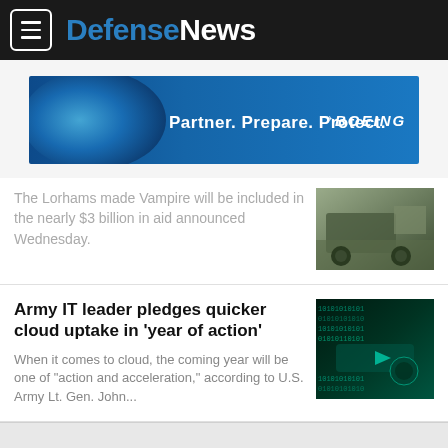DefenseNews
[Figure (screenshot): Boeing advertisement banner: Partner. Prepare. Protect. BOEING]
The Lorhams made Vampire will be included in the nearly $3 billion in aid announced Wednesday.
[Figure (photo): Military vehicle photograph]
Army IT leader pledges quicker cloud uptake in 'year of action'
When it comes to cloud, the coming year will be one of "action and acceleration," according to U.S. Army Lt. Gen. John...
[Figure (photo): Cyber/digital themed image with binary code overlay]